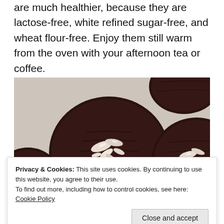are much healthier, because they are lactose-free, white refined sugar-free, and wheat flour-free. Enjoy them still warm from the oven with your afternoon tea or coffee.
[Figure (photo): Close-up photo of dark chocolate cookies topped with coconut flakes, placed on parchment paper. Multiple cookies visible, the largest centered in the frame.]
Privacy & Cookies: This site uses cookies. By continuing to use this website, you agree to their use.
To find out more, including how to control cookies, see here: Cookie Policy